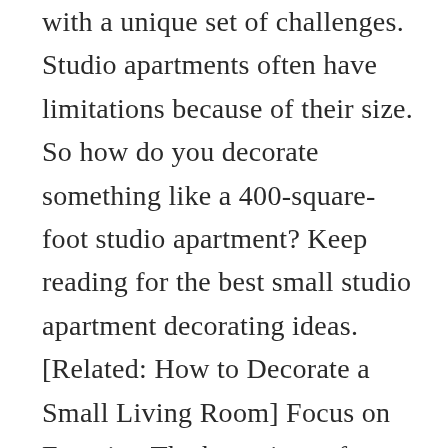with a unique set of challenges. Studio apartments often have limitations because of their size. So how do you decorate something like a 400-square-foot studio apartment? Keep reading for the best small studio apartment decorating ideas. [Related: How to Decorate a Small Living Room] Focus on Function The best piece of advice to follow is to pick up functional pieces first. Think hanging shelves, foldable tables and bed frames, or hooks for your kitchen and bathroom. When you have limited space, a piece of furniture that either folds or offers you extra storage space helps keep